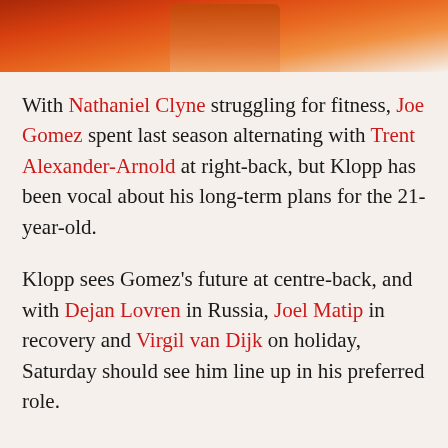[Figure (photo): Photo of a footballer wearing an orange jersey, cropped to show torso and lower body against a blurred red/pink background.]
With Nathaniel Clyne struggling for fitness, Joe Gomez spent last season alternating with Trent Alexander-Arnold at right-back, but Klopp has been vocal about his long-term plans for the 21-year-old.
Klopp sees Gomez's future at centre-back, and with Dejan Lovren in Russia, Joel Matip in recovery and Virgil van Dijk on holiday, Saturday should see him line up in his preferred role.